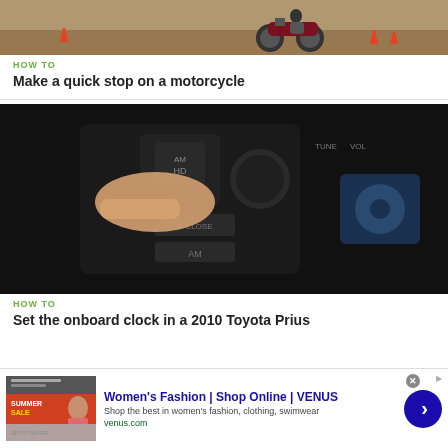[Figure (photo): Motorcycle on a course with orange cones]
HOW TO
Make a quick stop on a motorcycle
[Figure (photo): Hand pressing buttons on a car dashboard/radio panel]
HOW TO
Set the onboard clock in a 2010 Toyota Prius
[Figure (photo): Advertisement: Women's Fashion | Shop Online | VENUS - Shop the best in women's fashion, clothing, swimwear - venus.com]